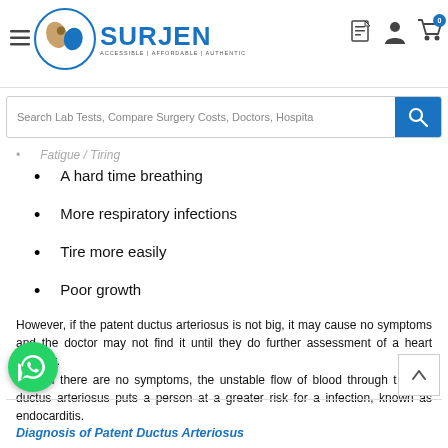SURJEN — ACCESSIBLE | AFFORDABLE | AUTHENTIC
A hard time breathing
More respiratory infections
Tire more easily
Poor growth
However, if the patent ductus arteriosus is not big, it may cause no symptoms and the doctor may not find it until they do further assessment of a heart murmur.
Even if there are no symptoms, the unstable flow of blood through the patent ductus arteriosus puts a person at a greater risk for a infection, known as endocarditis.
Diagnosis of Patent Ductus Arteriosus